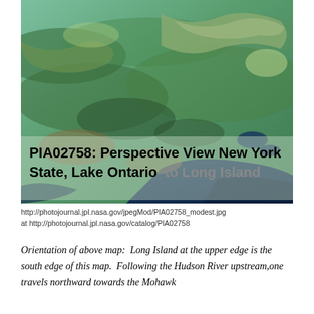[Figure (photo): Satellite perspective view of New York State from Lake Ontario to Long Island, showing green terrain, mountains, and water bodies. Overlaid bold text reads: 'PIA02758: Perspective View  New York State, Lake Ontario to Long Island']
http://photojournal.jpl.nasa.gov/jpegMod/PIA02758_modest.jpg
at http://photojournal.jpl.nasa.gov/catalog/PIA02758
Orientation of above map:  Long Island at the upper edge is the south edge of this map.  Following the Hudson River upstream,one travels northward towards the Mohawk